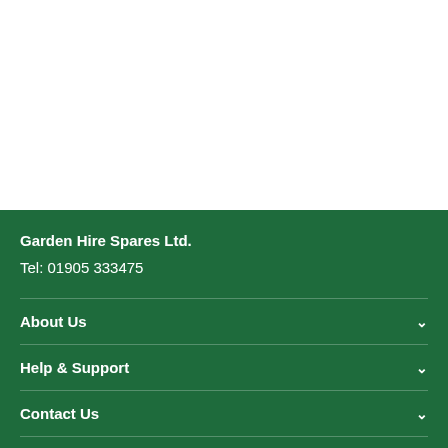[Figure (other): White empty section at top of page]
Garden Hire Spares Ltd.
Tel: 01905 333475
About Us
Help & Support
Contact Us
Your Account